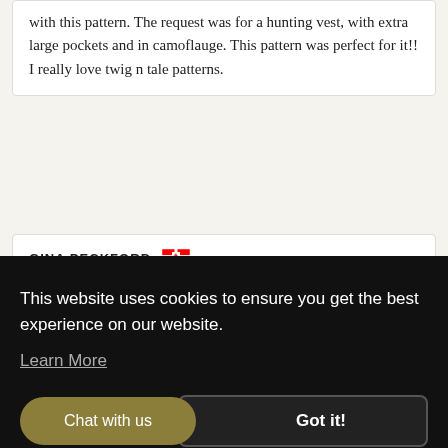with this pattern. The request was for a hunting vest, with extra large pockets and in camoflauge. This pattern was perfect for it!! I really love twig n tale patterns.
GINA PECKFORD (AYLESFORD, CA)
Verified
6 months ago
[Figure (other): 5 gold star rating icons]
This website uses cookies to ensure you get the best experience on our website.
Learn More
Chat with us
Got it!